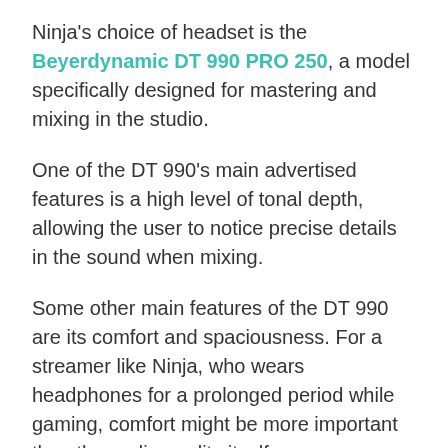Ninja's choice of headset is the Beyerdynamic DT 990 PRO 250, a model specifically designed for mastering and mixing in the studio.
One of the DT 990's main advertised features is a high level of tonal depth, allowing the user to notice precise details in the sound when mixing.
Some other main features of the DT 990 are its comfort and spaciousness. For a streamer like Ninja, who wears headphones for a prolonged period while gaming, comfort might be more important than the audio quality itself.
What Keyboard Does Ninja Use?